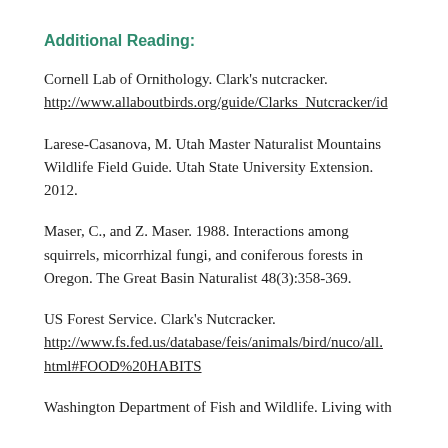Additional Reading:
Cornell Lab of Ornithology. Clark's nutcracker. http://www.allaboutbirds.org/guide/Clarks_Nutcracker/id
Larese-Casanova, M. Utah Master Naturalist Mountains Wildlife Field Guide. Utah State University Extension. 2012.
Maser, C., and Z. Maser. 1988. Interactions among squirrels, micorrhizal fungi, and coniferous forests in Oregon. The Great Basin Naturalist 48(3):358-369.
US Forest Service. Clark's Nutcracker. http://www.fs.fed.us/database/feis/animals/bird/nuco/all.html#FOOD%20HABITS
Washington Department of Fish and Wildlife. Living with